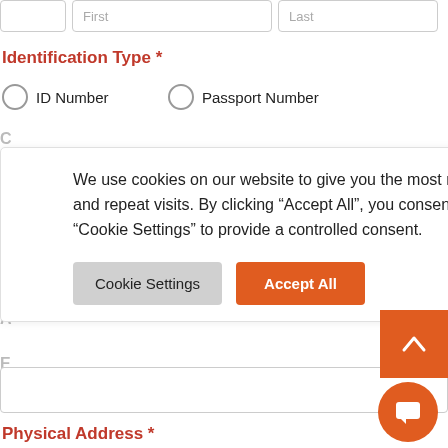First | Last (form fields at top)
Identification Type *
ID Number
Passport Number
We use cookies on our website to give you the most relevant experience by remembering your preferences and repeat visits. By clicking “Accept All”, you consent to the use of ALL the cookies. However, you may visit “Cookie Settings” to provide a controlled consent.
Cookie Settings
Accept All
Physical Address *
Address Line 1